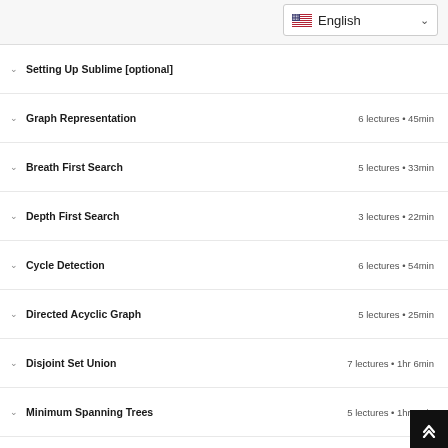Setting Up Sublime [optional]
Graph Representation
Breath First Search
Depth First Search
Cycle Detection
Directed Acyclic Graph
Disjoint Set Union
Minimum Spanning Trees
Shortest Path Algorithms
Travelling Salesman Problem
Flood Fill
Multi - Source BFS
DFS-Tree and Backedges
Articulation Points & Bridges
Strongly Connected Components